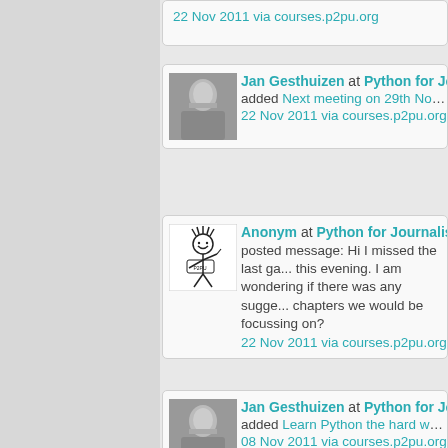22 Nov 2011 via courses.p2pu.org
Jan Gesthuizen at Python for Journalists - added Next meeting on 29th November
22 Nov 2011 via courses.p2pu.org
Anonym at Python for Journalists - 2011 - posted message: Hi I missed the last ga... this evening. I am wondering if there was any sugge... chapters we would be focussing on?
22 Nov 2011 via courses.p2pu.org
Jan Gesthuizen at Python for Journalists - added Learn Python the hard way until 0
08 Nov 2011 via courses.p2pu.org